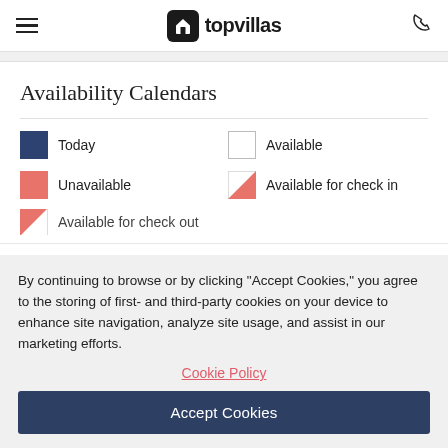topvillas
Availability Calendars
Today
Available
Unavailable
Available for check in
Available for check out
By continuing to browse or by clicking “Accept Cookies,” you agree to the storing of first- and third-party cookies on your device to enhance site navigation, analyze site usage, and assist in our marketing efforts.
Cookie Policy
Accept Cookies